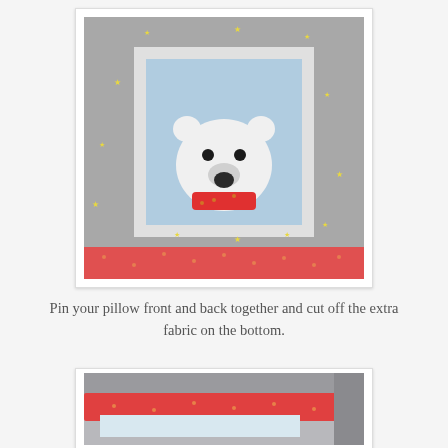[Figure (photo): A quilted pillow front and back pinned together, showing a polar bear with a red scarf on a light blue background, surrounded by a grey border with yellow star pins. A red dotted fabric is visible at the bottom edge.]
Pin your pillow front and back together and cut off the extra fabric on the bottom.
[Figure (photo): Close-up of the bottom edge of the pinned pillow layers showing grey, red dotted, and light blue fabric layers folded together.]